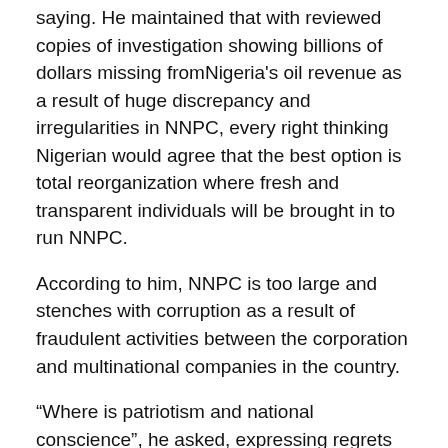saying. He maintained that with reviewed copies of investigation showing billions of dollars missing fromNigeria's oil revenue as a result of huge discrepancy and irregularities in NNPC, every right thinking Nigerian would agree that the best option is total reorganization where fresh and transparent individuals will be brought in to run NNPC.
According to him, NNPC is too large and stenches with corruption as a result of fraudulent activities between the corporation and multinational companies in the country.
“Where is patriotism and national conscience”, he asked, expressing regrets that a manager in NNPC entrusted with the job of monitoring the quantity of oil loaded for distribution, shows little or no concern about actual figures but rather sits at the comfort of his office and waits for a fat envelope to be sent to him by his cohorts in corruption. “It is high time government and relevant authorities wake up from